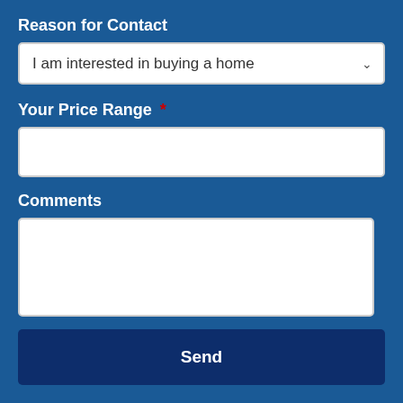Reason for Contact
I am interested in buying a home
Your Price Range *
Comments
Send
Real Estate Blog